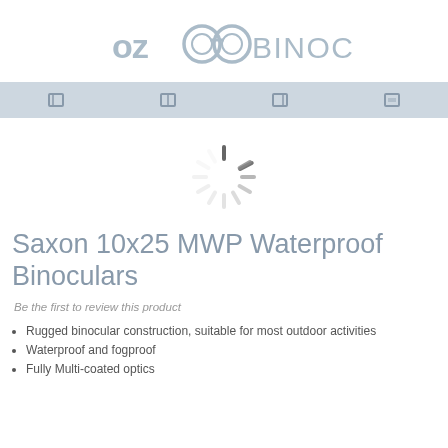[Figure (logo): OZ Binoculars logo with stylized binocular lens icon between 'OZ' and 'BINOCULARS' text in light blue-grey]
[Figure (screenshot): Navigation bar with four small icon placeholders on a light blue-grey background]
[Figure (illustration): Loading spinner graphic with radial lines in grey, indicating content is loading]
Saxon 10x25 MWP Waterproof Binoculars
Be the first to review this product
Rugged binocular construction, suitable for most outdoor activities
Waterproof and fogproof
Fully Multi-coated optics